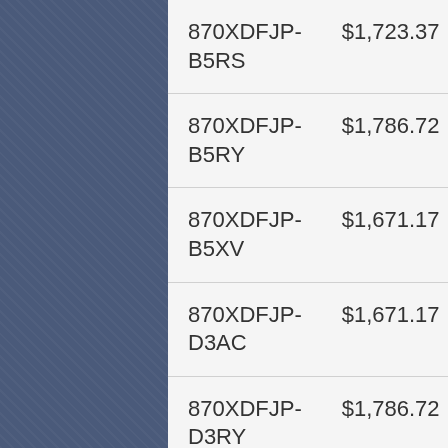| 870XDFJP-B5RS | $1,723.37 | PTO Assembly |
| 870XDFJP-B5RY | $1,786.72 | PTO Assembly |
| 870XDFJP-B5XV | $1,671.17 | PTO Assembly |
| 870XDFJP-D3AC | $1,671.17 | PTO Assembly |
| 870XDFJP-D3RY | $1,786.72 | PTO Assembly |
| 870XDFJP-D3XV | $1,671.17 | PTO Assembly |
| 870XDFJP-... | $1,671.17 | PTO |